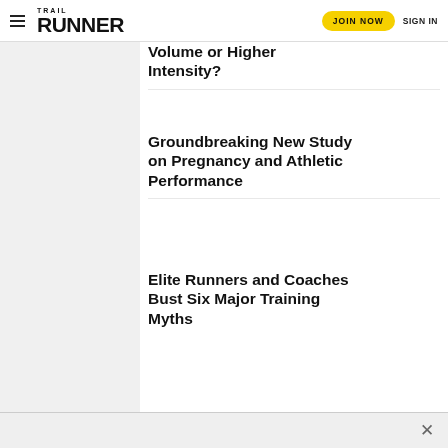Trail Runner — JOIN NOW | SIGN IN
Volume or Higher Intensity?
Groundbreaking New Study on Pregnancy and Athletic Performance
Elite Runners and Coaches Bust Six Major Training Myths